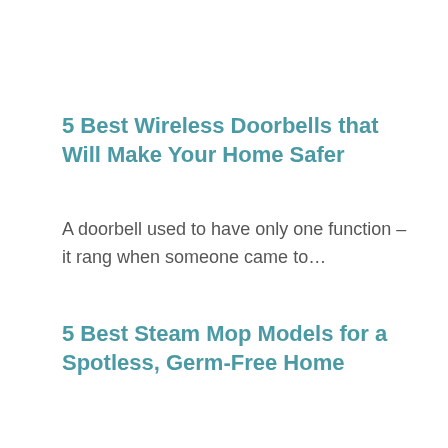5 Best Wireless Doorbells that Will Make Your Home Safer
A doorbell used to have only one function – it rang when someone came to…
5 Best Steam Mop Models for a Spotless, Germ-Free Home